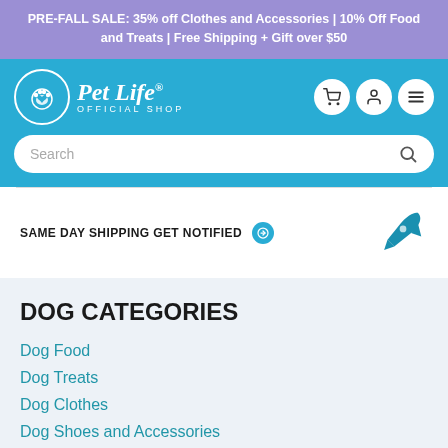PRE-FALL SALE: 35% off Clothes and Accessories | 10% Off Food and Treats | Free Shipping + Gift over $50
[Figure (logo): Pet Life Official Shop logo with paw print icon in a circle, white text on teal background with cart, user, and menu icon buttons and a search bar]
SAME DAY SHIPPING GET NOTIFIED
DOG CATEGORIES
Dog Food
Dog Treats
Dog Clothes
Dog Shoes and Accessories